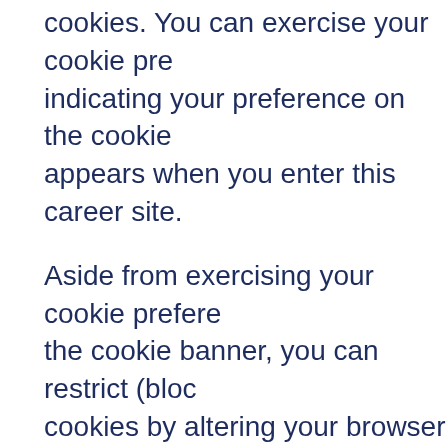cookies. You can exercise your cookie pre indicating your preference on the cookie appears when you enter this career site.
Aside from exercising your cookie prefere the cookie banner, you can restrict (bloc cookies by altering your browser settings the use of cookies, you will not be able t interactive features on this career site. T you can restrict cookies varies from brow You should therefore visit your web brow for more information.
Contact us